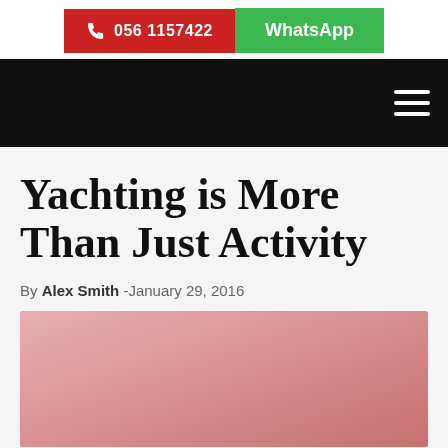📞 056 1157422 | WhatsApp
[Figure (screenshot): Black navigation bar with hamburger menu icon on the right]
Yachting is More Than Just Activity
By Alex Smith -January 29, 2016
[Figure (photo): Pink/rose colored background image, article featured photo]